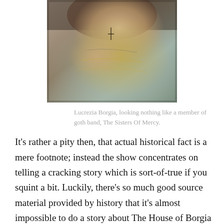[Figure (photo): A woman in Renaissance-era costume with ornate gold-trimmed blue and beige dress, wearing a cross necklace and rings, photographed from shoulders down to waist.]
Lucrezia Borgia, looking nothing like a member of goth band, The Sisters Of Mercy.
It’s rather a pity then, that actual historical fact is a mere footnote; instead the show concentrates on telling a cracking story which is sort-of-true if you squint a bit. Luckily, there’s so much good source material provided by history that it’s almost impossible to do a story about The House of Borgia badly, and The Borgias is well written, directed and cast, though thoroughly over the top.